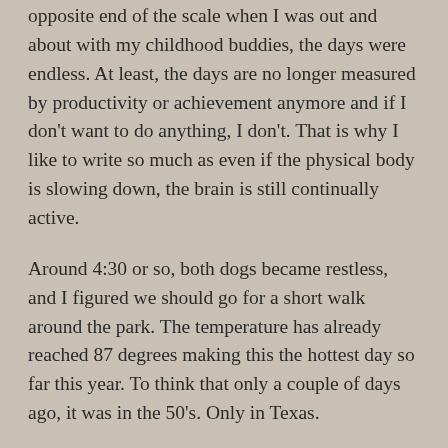opposite end of the scale when I was out and about with my childhood buddies, the days were endless. At least, the days are no longer measured by productivity or achievement anymore and if I don't want to do anything, I don't. That is why I like to write so much as even if the physical body is slowing down, the brain is still continually active.
Around 4:30 or so, both dogs became restless, and I figured we should go for a short walk around the park. The temperature has already reached 87 degrees making this the hottest day so far this year. To think that only a couple of days ago, it was in the 50's. Only in Texas.
Later that evening, we went out for another short walk. By then, it had cooled off a bit and we covered 1.7 miles for the day.
Written 03/26/2022. Read my other blog at https://nandblog2011.com